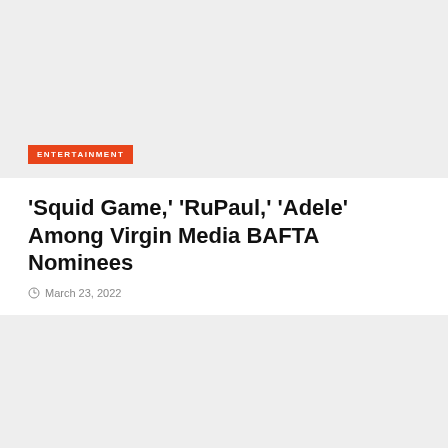[Figure (photo): Gray placeholder image block at top of article]
ENTERTAINMENT
'Squid Game,' 'RuPaul,' 'Adele' Among Virgin Media BAFTA Nominees
March 23, 2022
[Figure (photo): Gray placeholder image block at bottom of article]